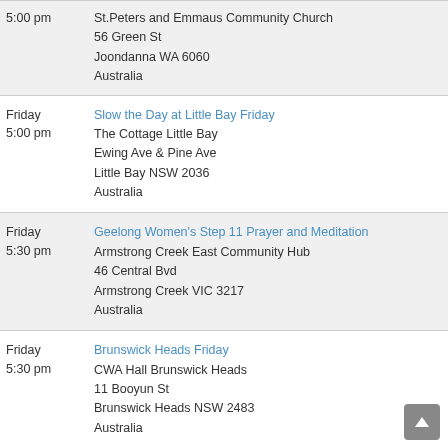5:00 pm | St.Peters and Emmaus Community Church, 56 Green St, Joondanna WA 6060, Australia
Friday 5:00 pm | Slow the Day at Little Bay Friday | The Cottage Little Bay, Ewing Ave & Pine Ave, Little Bay NSW 2036, Australia
Friday 5:30 pm | Geelong Women's Step 11 Prayer and Meditation | Armstrong Creek East Community Hub, 46 Central Bvd, Armstrong Creek VIC 3217, Australia
Friday 5:30 pm | Brunswick Heads Friday | CWA Hall Brunswick Heads, 11 Booyun St, Brunswick Heads NSW 2483, Australia